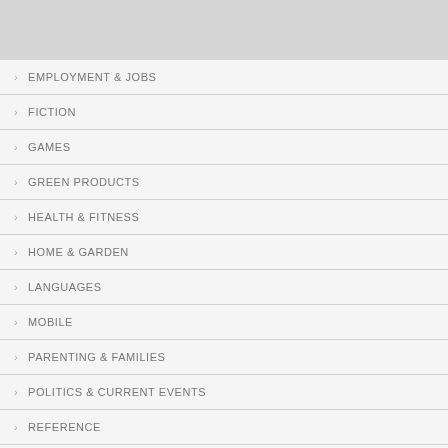EMPLOYMENT & JOBS
FICTION
GAMES
GREEN PRODUCTS
HEALTH & FITNESS
HOME & GARDEN
LANGUAGES
MOBILE
PARENTING & FAMILIES
POLITICS & CURRENT EVENTS
REFERENCE
SELF-HELP